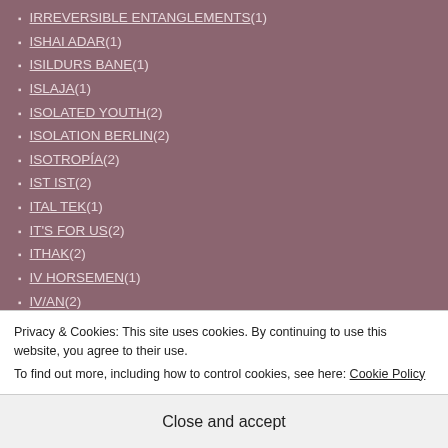IRREVERSIBLE ENTANGLEMENTS (1)
ISHAI ADAR (1)
ISILDURS BANE (1)
ISLAJA (1)
ISOLATED YOUTH (2)
ISOLATION BERLIN (2)
ISOTROPÍA (2)
IST IST (2)
ITAL TEK (1)
IT'S FOR US (2)
ITHAK (2)
IV HORSEMEN (1)
IV/AN (2)
IVARDENSPHERE (1)
IVAN PAZ (1)
IVOR CUTLER (1)
Privacy & Cookies: This site uses cookies. By continuing to use this website, you agree to their use. To find out more, including how to control cookies, see here: Cookie Policy
Close and accept